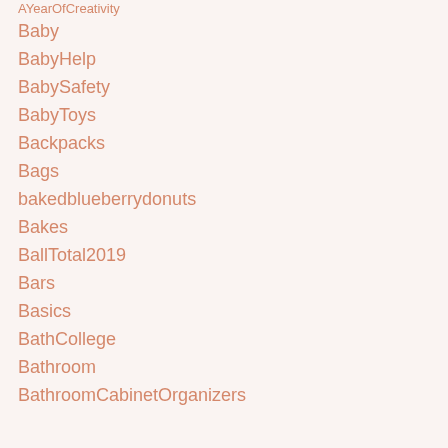AYearOfCreativity
Baby
BabyHelp
BabySafety
BabyToys
Backpacks
Bags
bakedblueberrydonuts
Bakes
BallTotal2019
Bars
Basics
BathCollege
Bathroom
BathroomCabinetOrganizers